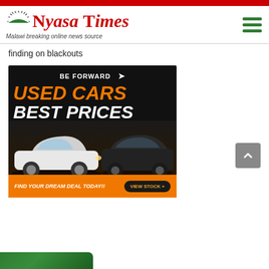Nyasa Times — Malawi breaking online news source
finding on blackouts
[Figure (photo): BE FORWARD advertisement banner showing used cars (white Mercedes sedan and black SUV) with text USED CARS BEST PRICES, find your dream deal today, view stock button]
[Figure (photo): Partial green image at bottom of page]